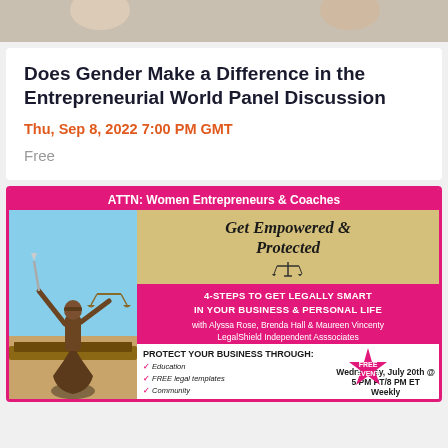[Figure (photo): Top decorative image strip with partial figures visible]
Does Gender Make a Difference in the Entrepreneurial World Panel Discussion
Thu, Sep 8, 2022 7:00 PM GMT
Free
[Figure (infographic): Advertisement for 'Get Empowered & Protected' event by LegalShield Independent Associates with Lady Justice image. ATTN: Women Entrepreneurs & Coaches. 4-Steps to Get Legally Smart in Your Business & Personal Life. With Alyssa Rose, Brenda Hall & Maureen Vincenty. Protect Your Business Through: Education, FREE legal templates, Community, Cost-effective legal team to review your contracts, documents & more. Free Event. Wednesday, July 20th @ 5 PM PT/8 PM ET Weekly.]